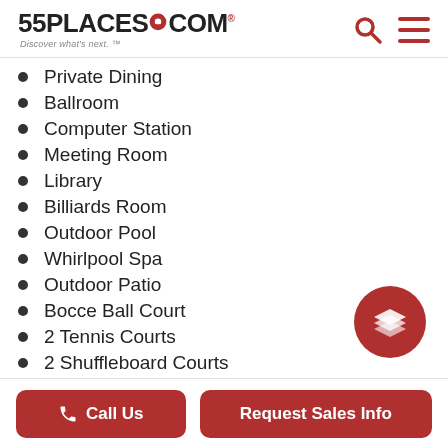55PLACES.COM — Discover what's next.
Private Dining
Ballroom
Computer Station
Meeting Room
Library
Billiards Room
Outdoor Pool
Whirlpool Spa
Outdoor Patio
Bocce Ball Court
2 Tennis Courts
2 Shuffleboard Courts
Horseshoe Pits
Walking & Biking Trails